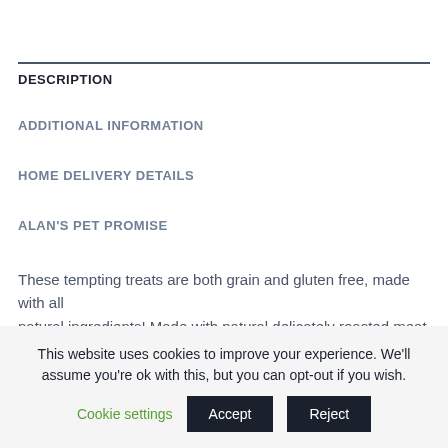DESCRIPTION
ADDITIONAL INFORMATION
HOME DELIVERY DETAILS
ALAN'S PET PROMISE
These tempting treats are both grain and gluten free, made with all natural ingredients! Made with natural delicately roasted meat and
This website uses cookies to improve your experience. We'll assume you're ok with this, but you can opt-out if you wish. Cookie settings Accept Reject